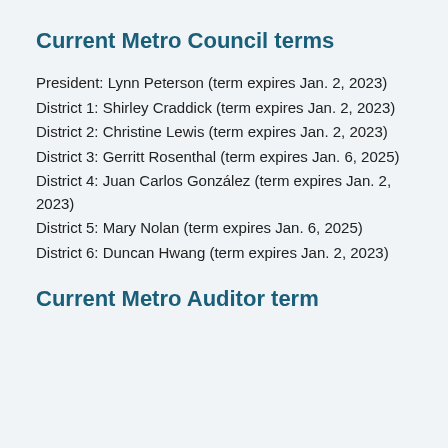Current Metro Council terms
President: Lynn Peterson (term expires Jan. 2, 2023)
District 1: Shirley Craddick (term expires Jan. 2, 2023)
District 2: Christine Lewis (term expires Jan. 2, 2023)
District 3: Gerritt Rosenthal (term expires Jan. 6, 2025)
District 4: Juan Carlos González (term expires Jan. 2, 2023)
District 5: Mary Nolan (term expires Jan. 6, 2025)
District 6: Duncan Hwang (term expires Jan. 2, 2023)
Current Metro Auditor term